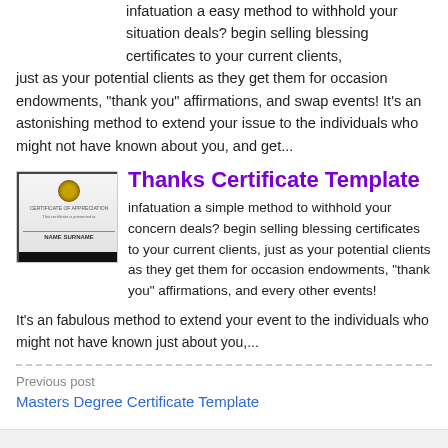infatuation a easy method to withhold your situation deals? begin selling blessing certificates to your current clients, just as your potential clients as they get them for occasion endowments, "thank you" affirmations, and swap events! It's an astonishing method to extend your issue to the individuals who might not have known about you, and get...
[Figure (photo): Certificate of Appreciation template image showing a gold medallion seal, text lines, NAME SURNAME placeholder, and a black bar at the bottom]
Thanks Certificate Template
infatuation a simple method to withhold your concern deals? begin selling blessing certificates to your current clients, just as your potential clients as they get them for occasion endowments, "thank you" affirmations, and every other events! It's an fabulous method to extend your event to the individuals who might not have known just about you,...
Previous post
Masters Degree Certificate Template